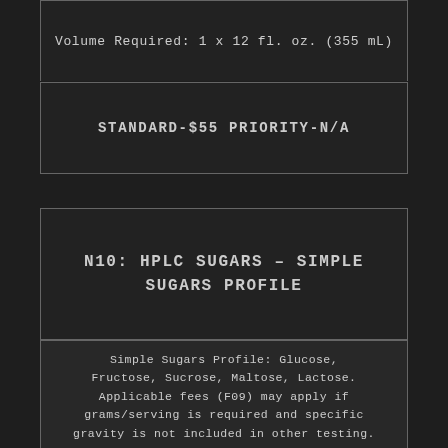Volume Required: 1 x 12 fl. oz. (355 mL)
STANDARD-$55 PRIORITY-N/A
N10: HPLC SUGARS – SIMPLE SUGARS PROFILE
Simple Sugars Profile: Glucose, Fructose, Sucrose, Maltose, Lactose. Applicable fees (F09) may apply if grams/serving is required and specific gravity is not included in other testing.